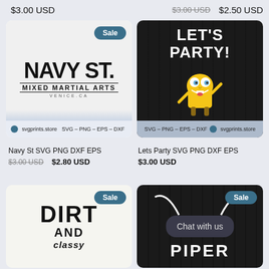$3.00 USD
$3.00 USD  $2.50 USD
[Figure (illustration): Navy St Mixed Martial Arts Venice.CA SVG print product card with Sale badge, white background with blue fade at bottom, svgprints.store branding bar]
[Figure (illustration): Let's Party SVG print product card featuring Spongebob character on dark wood-grain background, svgprints.store branding bar]
Navy St SVG PNG DXF EPS
Lets Party SVG PNG DXF EPS
$3.00 USD  $2.80 USD
$3.00 USD
[Figure (illustration): Dirt and Classy SVG print product card with Sale badge, light background with bold black text]
[Figure (illustration): Dark wood-grain background SVG product card with PIPER text, bull horns, Sale badge, and Chat with us chat bubble overlay]